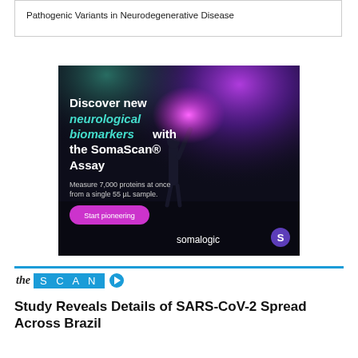Pathogenic Variants in Neurodegenerative Disease
[Figure (photo): SomaLogic advertisement showing a person raising their arm with colorful light effects. Text reads: Discover new neurological biomarkers with the SomaScan® Assay. Measure 7,000 proteins at once from a single 55 µL sample. Start pioneering. somalogic logo.]
the SCAN
Study Reveals Details of SARS-CoV-2 Spread Across Brazil